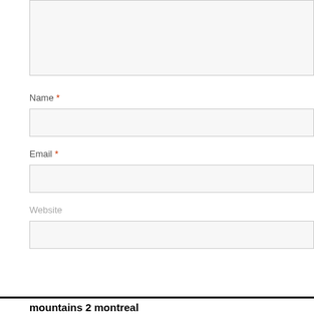Name *
Email *
Website
Post Comment
mountains 2 montreal